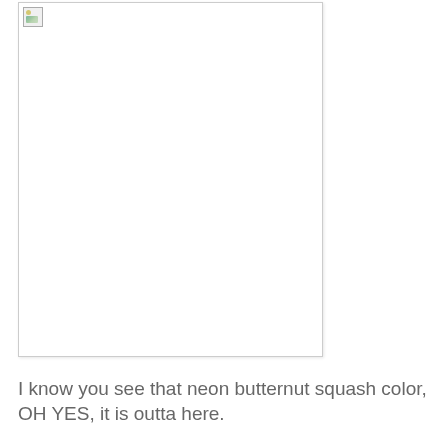[Figure (photo): A broken/unloaded image placeholder shown as a white rectangle with a border and a small broken image icon in the top-left corner]
I know you see that neon butternut squash color, OH YES, it is outta here.